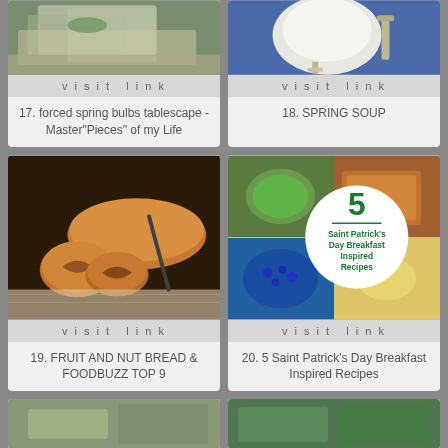[Figure (photo): Tablescape with plates, napkins, greenery on a wooden tray]
visit link
17. forced spring bulbs tablescape - Master"Pieces" of my Life
[Figure (photo): White teapot and spoon on blue background]
visit link
18. SPRING SOUP
[Figure (photo): Sliced fruit and nut bread rolls on a cutting board]
visit link
19. FRUIT AND NUT BREAD & FOODBUZZ TOP 9
[Figure (photo): Collage of 5 Saint Patrick's Day Breakfast Inspired Recipes with green circle overlay]
visit link
20. 5 Saint Patrick's Day Breakfast Inspired Recipes
[Figure (photo): Partial card at bottom left]
[Figure (photo): Partial card at bottom right]